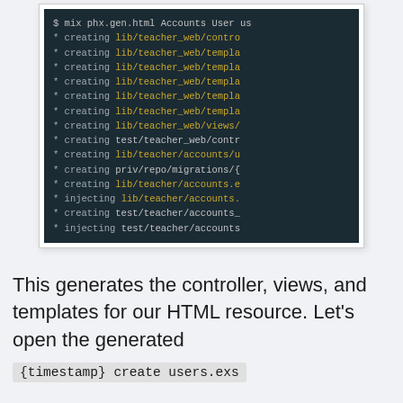[Figure (screenshot): Terminal output showing 'mix phx.gen.html Accounts User us...' command followed by multiple 'creating' and 'injecting' lines listing lib/teacher_web/controllers, templates, views, test, lib/teacher/accounts, priv/repo/migrations, and injecting lib/teacher/accounts.ex and test/teacher/accounts files.]
This generates the controller, views, and templates for our HTML resource. Let's open the generated
{timestamp} create users.exs